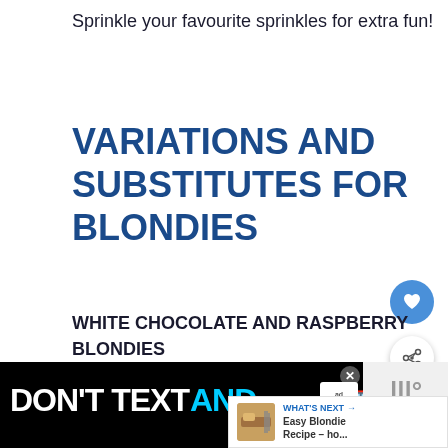Sprinkle your favourite sprinkles for extra fun!
VARIATIONS AND SUBSTITUTES FOR BLONDIES
WHITE CHOCOLATE AND RASPBERRY BLONDIES
[Figure (screenshot): Floating heart (favourite) button in blue circle and share button in white circle with shadow]
[Figure (screenshot): What's Next panel showing Easy Blondie Recipe thumbnail and text 'WHAT'S NEXT → Easy Blondie Recipe – ho...']
[Figure (screenshot): Easter Egg Cheesecake link card with edit icon]
[Figure (screenshot): Banner advertisement: DON'T TEXT AND [red car emoji] with ad badge (NHTSA) and close button. Right side shows Millward Brown logo area.]